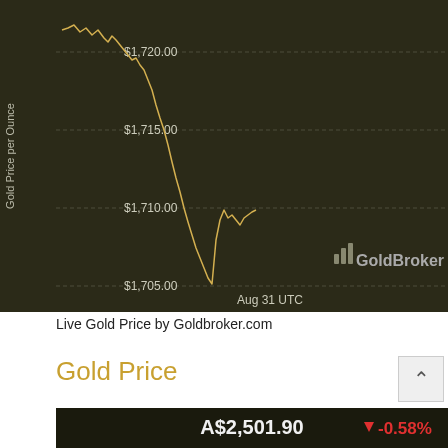[Figure (continuous-plot): Gold price chart (intraday) showing price falling from ~$1,720 down to ~$1,707 and recovering slightly to ~$1,713. Y-axis shows Gold Price per Ounce with labels $1,705.00, $1,710.00, $1,715.00, $1,720.00. X-axis label: Aug 31 UTC. GoldBroker watermark visible. Dark background.]
Live Gold Price by Goldbroker.com
Gold Price
[Figure (continuous-plot): Gold price chart (intraday) in Australian dollars. Displays A$2,501.90 with -0.58% change (red down arrow). Y-axis shows A$2,510.00, A$2,515.00. Price line shows downward trend from ~A$2,515 to current ~A$2,501. Dark background chart, partially cut off at bottom.]